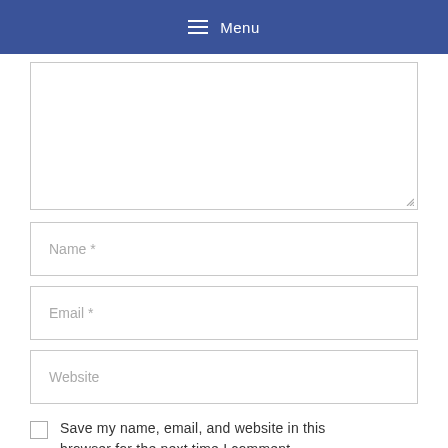☰ Menu
[Figure (screenshot): Text area input box (comment field), partially visible, with resize handle at bottom-right corner]
Name *
Email *
Website
Save my name, email, and website in this browser for the next time I comment.
Versatility